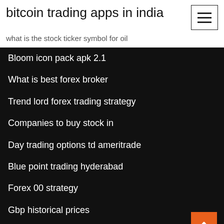bitcoin trading apps in india
what is the stock ticker symbol for oil
Bloom icon pack apk 2.1
What is best forex broker
Trend lord forex trading strategy
Companies to buy stock in
Day trading options td ameritrade
Blue point trading hyderabad
Forex 00 strategy
Gbp historical prices
How to make money on forex trader
Bitcoin by country wiki